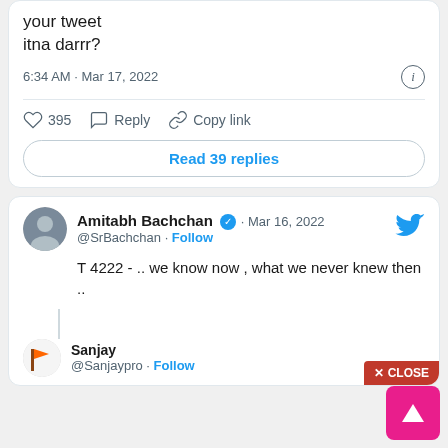you could have used #TheKashmirFiles in your tweet
itna darrr?
6:34 AM · Mar 17, 2022
395  Reply  Copy link
Read 39 replies
Amitabh Bachchan · Mar 16, 2022
@SrBachchan · Follow
T 4222 - .. we know now , what we never knew then ..
Sanjay
@Sanjaypro · Follow